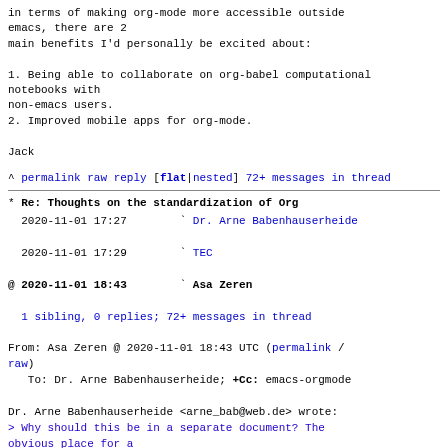in terms of making org-mode more accessible outside emacs, there are 2
main benefits I'd personally be excited about:

1. Being able to collaborate on org-babel computational notebooks with
non-emacs users.
2. Improved mobile apps for org-mode.

Jack
^ permalink raw reply  [flat|nested] 72+ messages in thread
* Re: Thoughts on the standardization of Org
2020-11-01 17:27        ` Dr. Arne Babenhauserheide
2020-11-01 17:29        ` TEC
@ 2020-11-01 18:43        ` Asa Zeren
  1 sibling, 0 replies; 72+ messages in thread
From: Asa Zeren @ 2020-11-01 18:43 UTC (permalink / raw)
   To: Dr. Arne Babenhauserheide; +Cc: emacs-orgmode

Dr. Arne Babenhauserheide <arne_bab@web.de> wrote:

> Why should this be in a separate document? The obvious place for a
> standard is worg, and the way forward is to improve
what's there.